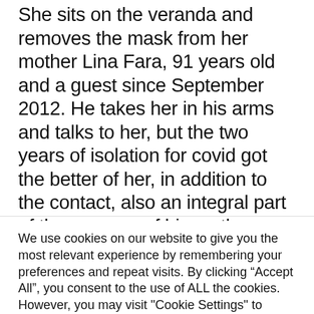She sits on the veranda and removes the mask from her mother Lina Fara, 91 years old and a guest since September 2012. He takes her in his arms and talks to her, but the two years of isolation for covid got the better of her, in addition to the contact, also an integral part of the memory of his mother: “When it all started, in March 2020, he was fine. Today, she does not walk and, after being infected and hospitalized, she no
We use cookies on our website to give you the most relevant experience by remembering your preferences and repeat visits. By clicking “Accept All”, you consent to the use of ALL the cookies. However, you may visit "Cookie Settings" to provide a controlled consent.